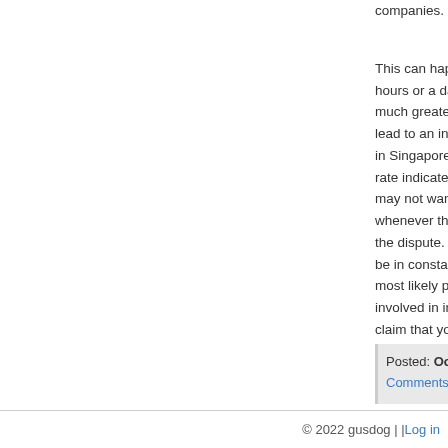companies.
This can happen for a variety of reasons. Perhaps they hours or a day later after the accident or found that the much greater than they initially expected. The number lead to an increase in your insurance premiums. If you in Singapore, it can be difficult to purchase auto insura rate indicates to the insurance company that you have may not want to insure. Therefore, you should conside whenever the situation allows. In most cases, the insu the dispute. Although as someone involved in the car a be in constant communication to update the case. On t most likely perform a background check to make sure t involved in insurance fraud (a common problem in car claim that you are injured to get a payment) and perfo before arriving at a comparison amount…
Posted: October 12th, 2021 under Uncategorized.
Comments: none
© 2022 gusdog | | Log in